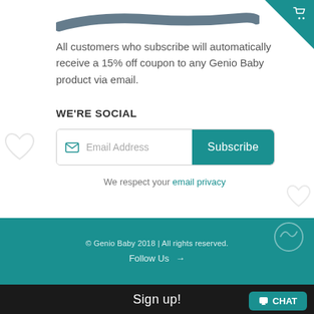[Figure (illustration): Dark navy/teal brushstroke decorative line at top of page]
All customers who subscribe will automatically receive a 15% off coupon to any Genio Baby product via email.
WE'RE SOCIAL
[Figure (screenshot): Email subscription form with Email Address input field and teal Subscribe button]
We respect your email privacy
© Genio Baby 2018 | All rights reserved.
Follow Us →
Sign up!
💬 CHAT